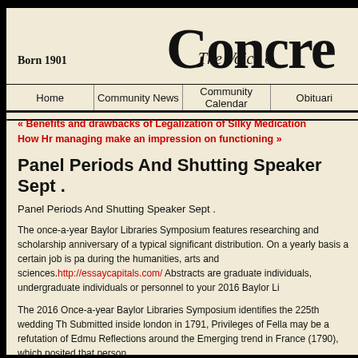Concre
Born 1901
The Voice o
Home | Community News | Community Calendar | Obituari
« Benefits and drawbacks of Legalization of Silky Medication
How Hr managing make an impression on functioning »
Panel Periods And Shutting Speaker Sept .
Panel Periods And Shutting Speaker Sept .
The once-a-year Baylor Libraries Symposium features researching and scholarship anniversary of a typical significant distribution. On a yearly basis a certain job is pa during the humanities, arts and sciences. http://essaycapitals.com/ Abstracts are graduate individuals, undergraduate individuals or personnel to your 2016 Baylor Li
The 2016 Once-a-year Baylor Libraries Symposium identifies the 225th wedding Th Submitted inside london in 1791, Privileges of Fella may be a refutation of Edmu Reflections around the Emerging trend in France (1790), which posited that person